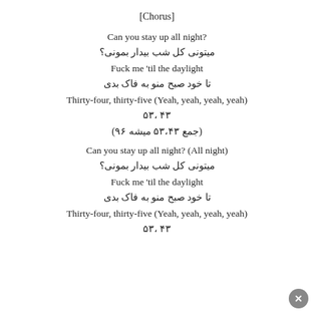[Chorus]
Can you stay up all night?
میتونی کل شب بیدار بمونی؟
Fuck me 'til the daylight
تا خود صبح منو به فاک بدی
Thirty-four, thirty-five (Yeah, yeah, yeah, yeah)
۳۴ ،۳۵
(جمع ۳۴،۳۵ میشه ۶۹)
Can you stay up all night? (All night)
میتونی کل شب بیدار بمونی؟
Fuck me 'til the daylight
تا خود صبح منو به فاک بدی
Thirty-four, thirty-five (Yeah, yeah, yeah, yeah)
۳۴ ،۳۵